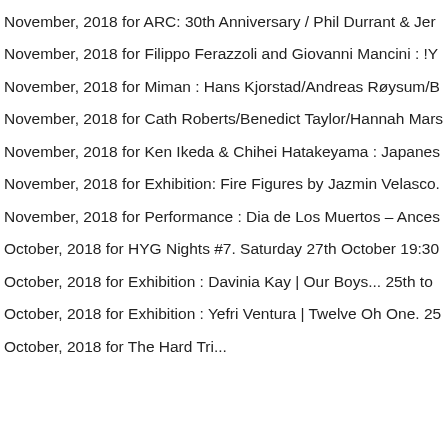November, 2018 for ARC: 30th Anniversary / Phil Durrant & Jer
November, 2018 for Filippo Ferazzoli and Giovanni Mancini : !Y
November, 2018 for Miman : Hans Kjorstad/Andreas Røysum/B
November, 2018 for Cath Roberts/Benedict Taylor/Hannah Mars
November, 2018 for Ken Ikeda & Chihei Hatakeyama : Japanes
November, 2018 for Exhibition: Fire Figures by Jazmin Velasco.
November, 2018 for Performance : Dia de Los Muertos – Ances
October, 2018 for HYG Nights #7. Saturday 27th October 19:30
October, 2018 for Exhibition : Davinia Kay | Our Boys... 25th to
October, 2018 for Exhibition : Yefri Ventura | Twelve Oh One. 25
October, 2018 for The Hard Tri...